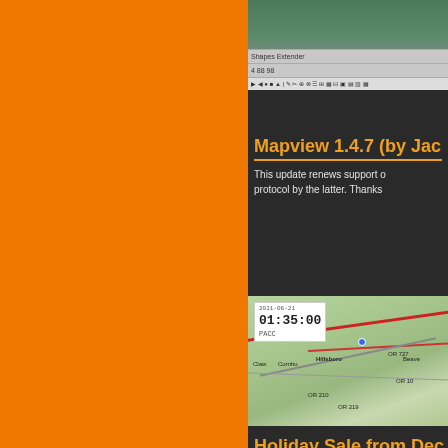[Figure (screenshot): Screenshot of a mapping/GPS application showing a satellite view and toolbar]
Mapview 1.4.7 (by Jac…
This update renews support o… protocol by the latter. Thanks…
[Figure (screenshot): Screenshot of a map viewer showing a route with timestamp 01:35:00 PACC overlaid on a road map]
Holiday Sale from Dec…